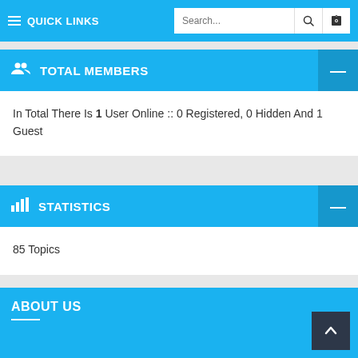≡ QUICK LINKS  Search...
TOTAL MEMBERS
In Total There Is 1 User Online :: 0 Registered, 0 Hidden And 1 Guest
STATISTICS
85 Topics
ABOUT US